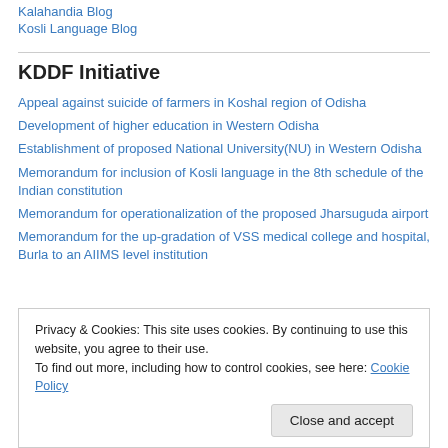Kalahandia Blog
Kosli Language Blog
KDDF Initiative
Appeal against suicide of farmers in Koshal region of Odisha
Development of higher education in Western Odisha
Establishment of proposed National University(NU) in Western Odisha
Memorandum for inclusion of Kosli language in the 8th schedule of the Indian constitution
Memorandum for operationalization of the proposed Jharsuguda airport
Memorandum for the up-gradation of VSS medical college and hospital, Burla to an AIIMS level institution
Privacy & Cookies: This site uses cookies. By continuing to use this website, you agree to their use.
To find out more, including how to control cookies, see here: Cookie Policy